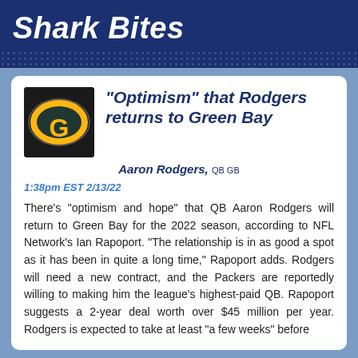Shark Bites
"Optimism" that Rodgers returns to Green Bay
Aaron Rodgers, QB GB
1:38pm EST 2/13/22
There's "optimism and hope" that QB Aaron Rodgers will return to Green Bay for the 2022 season, according to NFL Network's Ian Rapoport. "The relationship is in as good a spot as it has been in quite a long time," Rapoport adds. Rodgers will need a new contract, and the Packers are reportedly willing to making him the league's highest-paid QB. Rapoport suggests a 2-year deal worth over $45 million per year. Rodgers is expected to take at least "a few weeks" before